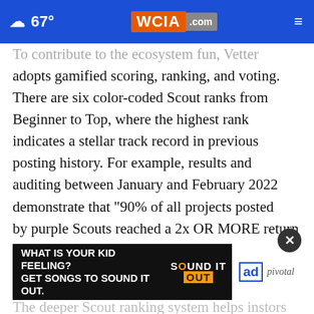67° WCIA.com
To contribute to the ecosystem fun, Vetter adopts gamified scoring, ranking, and voting. There are six color-coded Scout ranks from Beginner to Top, where the highest rank indicates a stellar track record in previous posting history. For example, results and auditing between January and February 2022 demonstrate that "90% of all projects posted by purple Scouts reached a 2x OR MORE return within 24 hours post-launch."
The deeper Scout ranking system helps investors
[Figure (screenshot): Advertisement banner: 'WHAT IS YOUR KID FEELING? GET SONGS TO SOUND IT OUT.' with Sound It Out branding, ad council logo, and pivotal logo]